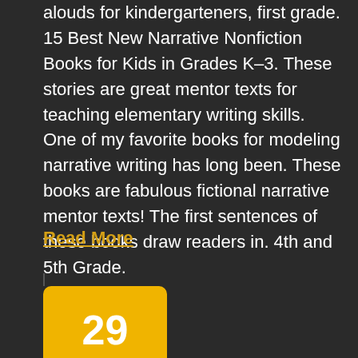alouds for kindergarteners, first grade. 15 Best New Narrative Nonfiction Books for Kids in Grades K–3. These stories are great mentor texts for teaching elementary writing skills. One of my favorite books for modeling narrative writing has long been. These books are fabulous fictional narrative mentor texts! The first sentences of these books draw readers in. 4th and 5th Grade.
Read More
29 Nov
Free story books for 1st grade
[Figure (illustration): Purple banner showing the number 100 in large white bold text]